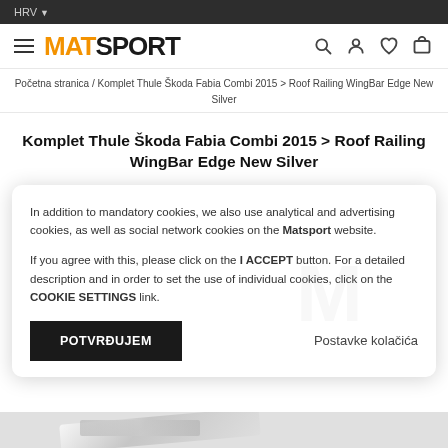HRV
[Figure (logo): MATSPORT logo with hamburger menu and header icons (search, user, heart, cart)]
Početna stranica / Komplet Thule Škoda Fabia Combi 2015 > Roof Railing WingBar Edge New Silver
Komplet Thule Škoda Fabia Combi 2015 > Roof Railing WingBar Edge New Silver
In addition to mandatory cookies, we also use analytical and advertising cookies, as well as social network cookies on the Matsport website.

If you agree with this, please click on the I ACCEPT button. For a detailed description and in order to set the use of individual cookies, click on the COOKIE SETTINGS link.
POTVRĐUJEM
Postavke kolačića